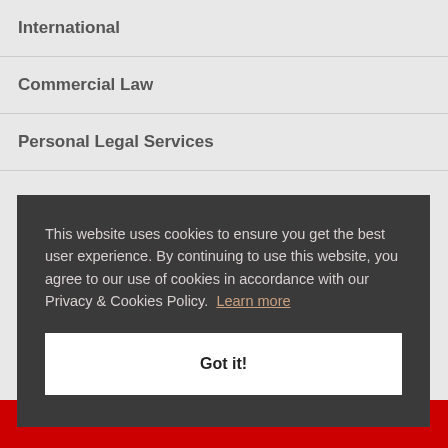International
Commercial Law
Personal Legal Services
This website uses cookies to ensure you get the best user experience. By continuing to use this website, you agree to our use of cookies in accordance with our Privacy & Cookies Policy.  Learn more
Got it!